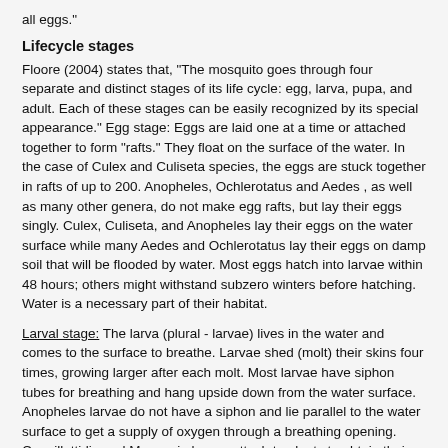all eggs."
Lifecycle stages
Floore (2004) states that, "The mosquito goes through four separate and distinct stages of its life cycle: egg, larva, pupa, and adult. Each of these stages can be easily recognized by its special appearance." Egg stage: Eggs are laid one at a time or attached together to form "rafts." They float on the surface of the water. In the case of Culex and Culiseta species, the eggs are stuck together in rafts of up to 200. Anopheles, Ochlerotatus and Aedes , as well as many other genera, do not make egg rafts, but lay their eggs singly. Culex, Culiseta, and Anopheles lay their eggs on the water surface while many Aedes and Ochlerotatus lay their eggs on damp soil that will be flooded by water. Most eggs hatch into larvae within 48 hours; others might withstand subzero winters before hatching. Water is a necessary part of their habitat.
Larval stage: The larva (plural - larvae) lives in the water and comes to the surface to breathe. Larvae shed (molt) their skins four times, growing larger after each molt. Most larvae have siphon tubes for breathing and hang upside down from the water surface. Anopheles larvae do not have a siphon and lie parallel to the water surface to get a supply of oxygen through a breathing opening. Coquillettidia and Mansonia larvae attach to plants to obtain their air supply. The larvae feed on microorganisms and organic matter in the water. During the fourth molt the larva changes into a pupa (Floore, 2004).